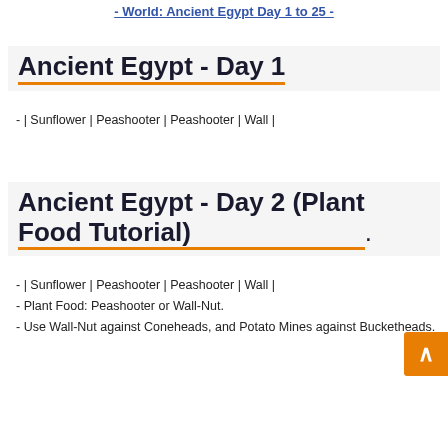- World: Ancient Egypt Day 1 to 25 -
Ancient Egypt - Day 1
- | Sunflower | Peashooter | Peashooter | Wall |
Ancient Egypt - Day 2 (Plant Food Tutorial)
- | Sunflower | Peashooter | Peashooter | Wall |
- Plant Food: Peashooter or Wall-Nut.
- Use Wall-Nut against Coneheads, and Potato Mines against Bucketheads.